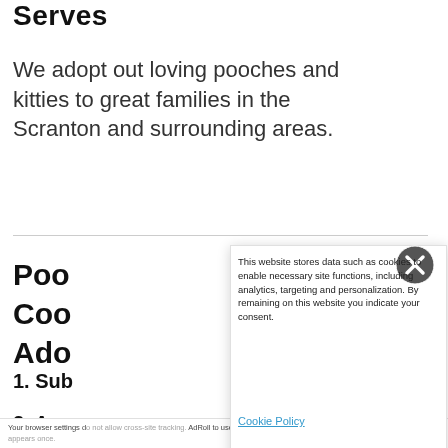Serves
We adopt out loving pooches and kitties to great families in the Scranton and surrounding areas.
Poo
Coo
Ado
1. Sub
2. A
This website stores data such as cookies to enable necessary site functions, including analytics, targeting and personalization. By remaining on this website you indicate your consent.
Cookie Policy
Your browser settings do not allow cross-site tracking. AdRoll to use cross-site cookies by clicking here. This message only appears once.